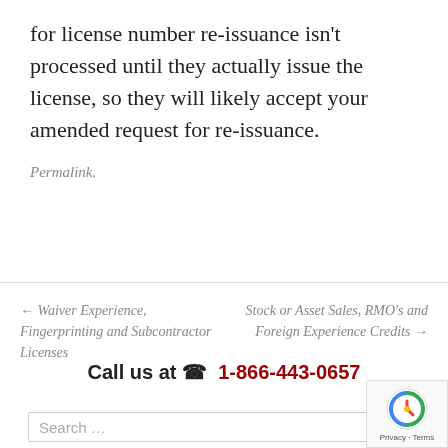for license number re-issuance isn't processed until they actually issue the license, so they will likely accept your amended request for re-issuance.
Permalink.
← Waiver Experience, Fingerprinting and Subcontractor Licenses
Stock or Asset Sales, RMO's and Foreign Experience Credits →
Call us at ☎ 1-866-443-0657
Search ...